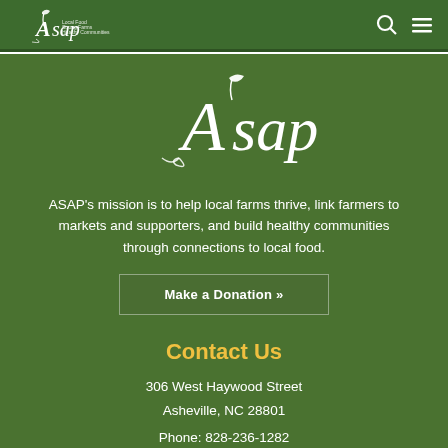ASAP navigation bar with logo, search icon, and menu icon
[Figure (logo): ASAP logo - white stylized text with leaf/sprout graphic, reads 'Asap' with tagline 'Local Food Strong Farms Healthy Communities']
[Figure (logo): Large centered ASAP logo in white on green background]
ASAP's mission is to help local farms thrive, link farmers to markets and supporters, and build healthy communities through connections to local food.
Make a Donation »
Contact Us
306 West Haywood Street
Asheville, NC 28801
Phone: 828-236-1282